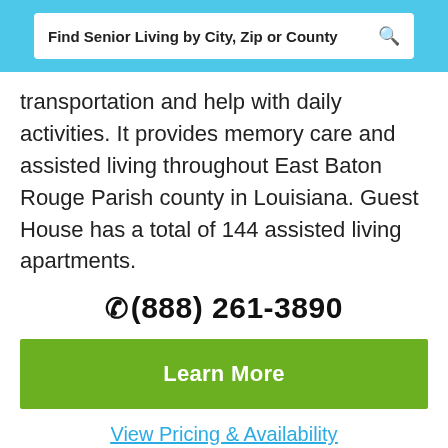Find Senior Living by City, Zip or County
transportation and help with daily activities. It provides memory care and assisted living throughout East Baton Rouge Parish county in Louisiana. Guest House has a total of 144 assisted living apartments.
(888) 261-3890
Learn More
View Pricing & Availability
CARRINGTON PLACE OF BATON ROUGE